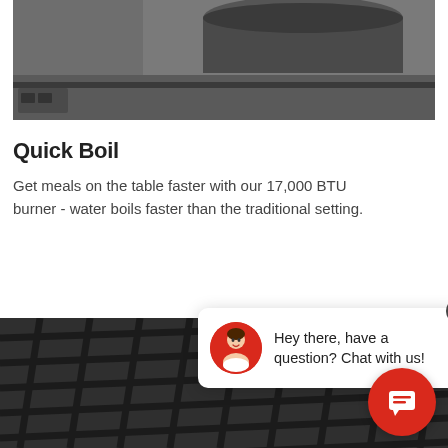[Figure (photo): Black and white close-up photo of a pot or pan on a gas range burner (top portion)]
Quick Boil
Get meals on the table faster with our 17,000 BTU burner - water boils faster than the traditional setting.
[Figure (photo): Black and white close-up photo of cast iron gas range grates/burner grates from below]
[Figure (screenshot): Chat widget popup: avatar of a person with red background, text 'Hey there, have a question? Chat with us!' with a close X button, and a red circular chat button in the bottom right corner]